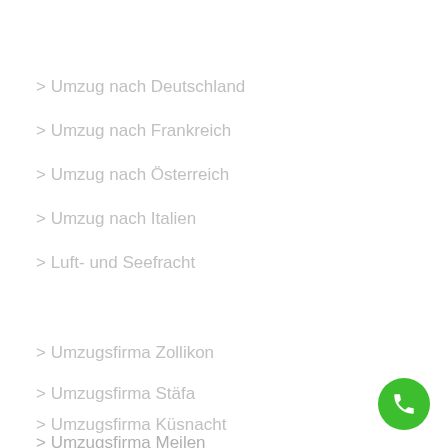> Umzug nach Deutschland
> Umzug nach Frankreich
> Umzug nach Österreich
> Umzug nach Italien
> Luft- und Seefracht
> Umzugsfirma Zollikon
> Umzugsfirma Stäfa
> Umzugsfirma Küsnacht
> Umzugsfirma Meilen